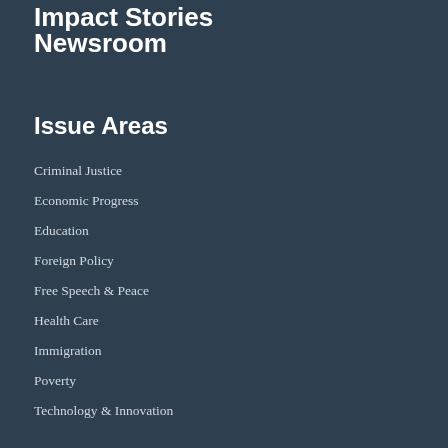Impact Stories
Newsroom
Issue Areas
Criminal Justice
Economic Progress
Education
Foreign Policy
Free Speech & Peace
Health Care
Immigration
Poverty
Technology & Innovation